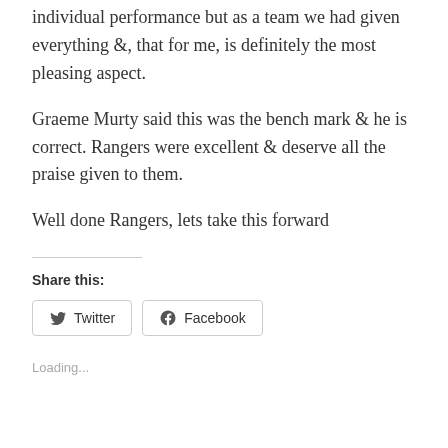individual performance but as a team we had given everything &, that for me, is definitely the most pleasing aspect.
Graeme Murty said this was the bench mark & he is correct. Rangers were excellent & deserve all the praise given to them.
Well done Rangers, lets take this forward
Share this:
Twitter
Facebook
Loading...